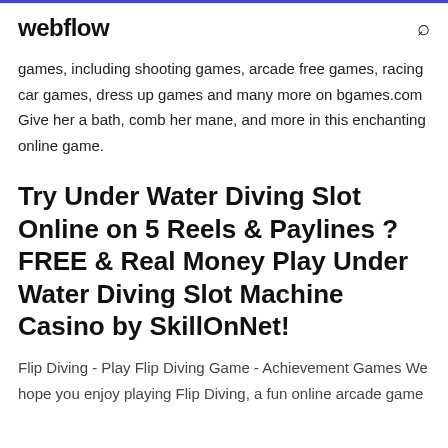webflow
games, including shooting games, arcade free games, racing car games, dress up games and many more on bgames.com Give her a bath, comb her mane, and more in this enchanting online game.
Try Under Water Diving Slot Online on 5 Reels & Paylines ? FREE & Real Money Play Under Water Diving Slot Machine Casino by SkillOnNet!
Flip Diving - Play Flip Diving Game - Achievement Games We hope you enjoy playing Flip Diving, a fun online arcade game